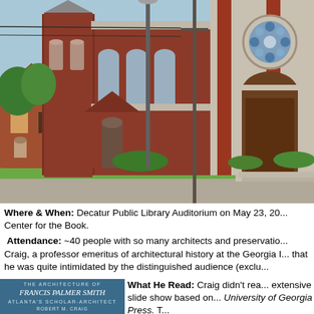[Figure (photo): Exterior photograph of a large brick church building with stone trim, Gothic arched entrance, rose window, and bell tower, taken from street level on a sunny day with green lawn in foreground.]
Where & When: Decatur Public Library Auditorium on May 23, 20... Center for the Book.
Attendance: ~40 people with so many architects and preservation... Craig, a professor emeritus of architectural history at the Georgia I... that he was quite intimidated by the distinguished audience (exclu...
[Figure (photo): Book cover: 'The Architecture of Francis Palmer Smith: Atlanta's Scholar-Architect' by Robert M. Craig, published by University of Georgia Press.]
What He Read: Craig didn't rea... extensive slide show based on... University of Georgia Press. T...